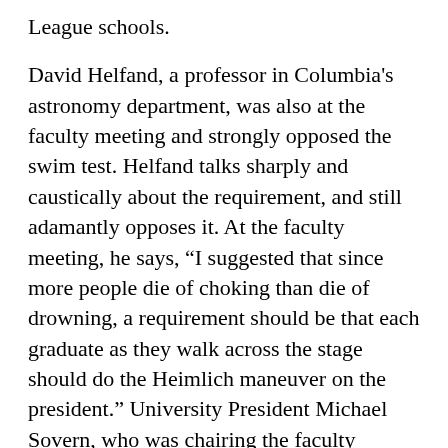League schools.

David Helfand, a professor in Columbia's astronomy department, was also at the faculty meeting and strongly opposed the swim test. Helfand talks sharply and caustically about the requirement, and still adamantly opposes it. At the faculty meeting, he says, “I suggested that since more people die of choking than die of drowning, a requirement should be that each graduate as they walk across the stage should do the Heimlich maneuver on the president.” University President Michael Sovern, who was chairing the faculty meeting, was not amused. Helfand also recalled that the vote was extremely close. Fewer than 50 faculty members were present, and since 50 represented the quorum required for a vote, the votes cannot be held. Helfand called for...